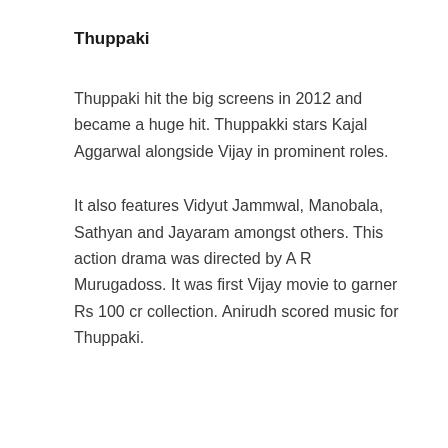Thuppaki
Thuppaki hit the big screens in 2012 and became a huge hit. Thuppakki stars Kajal Aggarwal alongside Vijay in prominent roles.
It also features Vidyut Jammwal, Manobala, Sathyan and Jayaram amongst others. This action drama was directed by A R Murugadoss. It was first Vijay movie to garner Rs 100 cr collection. Anirudh scored music for Thuppaki.